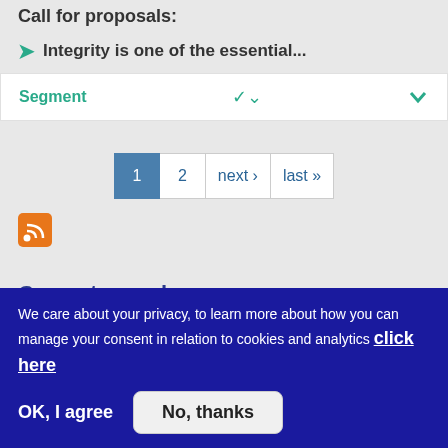Call for proposals:
Integrity is one of the essential...
Segment
1  2  next ›  last »
[Figure (other): RSS feed icon - orange square with white RSS symbol]
Current search
We care about your privacy, to learn more about how you can manage your consent in relation to cookies and analytics click here
OK, I agree
No, thanks